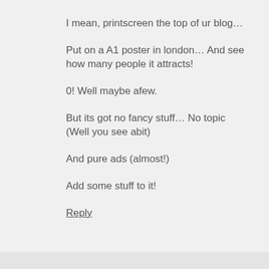I mean, printscreen the top of ur blog…
Put on a A1 poster in london… And see how many people it attracts!
0! Well maybe afew.
But its got no fancy stuff… No topic (Well you see abit)
And pure ads (almost!)
Add some stuff to it!
Reply